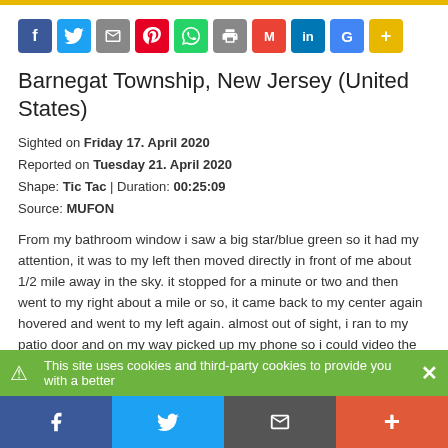[Figure (other): Row of social media sharing icons: Facebook, Twitter, Share, Pinterest, WhatsApp, Print, Gmail, LinkedIn, Google, More]
Barnegat Township, New Jersey (United States)
Sighted on Friday 17. April 2020
Reported on Tuesday 21. April 2020
Shape: Tic Tac | Duration: 00:25:09
Source: MUFON
From my bathroom window i saw a big star/blue green so it had my attention, it was to my left then moved directly in front of me about 1/2 mile away in the sky. it stopped for a minute or two and then went to my right about a mile or so, it came back to my center again hovered and went to my left again. almost out of sight, i ran to my patio door and on my way picked up my phone so i could video the ufo. looking at the ufo it was about an inch long (horizontal) the colors were going from bright red pulse to green blue, rather beautiful if you ask me. i did manage to video it, i couldn't see it in my phone view but i held it up and did manage to get the ufo. i tried to email the pic to my sister but it said the pic was too big. i uploaded it from my phone to the computer, it was
This site uses cookies and third-party cookies to provide you with a better
[Figure (other): Bottom social sharing bar with Facebook, Twitter, Share, and More buttons]